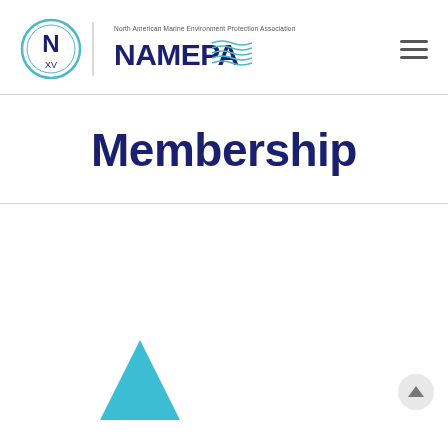[Figure (logo): NAMEPA logo — circular emblem with letter N and XV, next to 'North American Marine Environment Protection Association' text and NAMEPA wordmark with wave graphic]
Membership
[Figure (illustration): Partial teal/cyan triangle shape visible at bottom left, likely part of a page section graphic or icon]